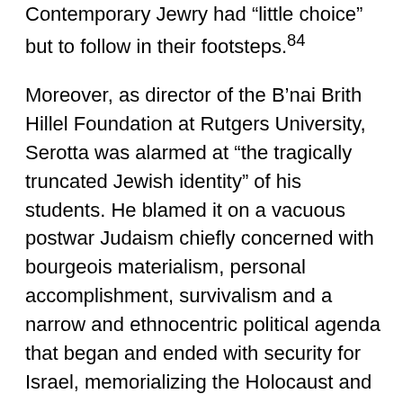Contemporary Jewry had “little choice” but to follow in their footsteps.²84
Moreover, as director of the B’nai Brith Hillel Foundation at Rutgers University, Serotta was alarmed at “the tragically truncated Jewish identity” of his students. He blamed it on a vacuous postwar Judaism chiefly concerned with bourgeois materialism, personal accomplishment, survivalism and a narrow and ethnocentric political agenda that began and ended with security for Israel, memorializing the Holocaust and relief for oppressed Jewish communities throughout the world. A Judaism that did not confront the issues that dominated public discourse, such as nuclear proliferation, energy policy, women’s rights, and urban decay rendered itself irrelevant. Young Jews were dropping out of the